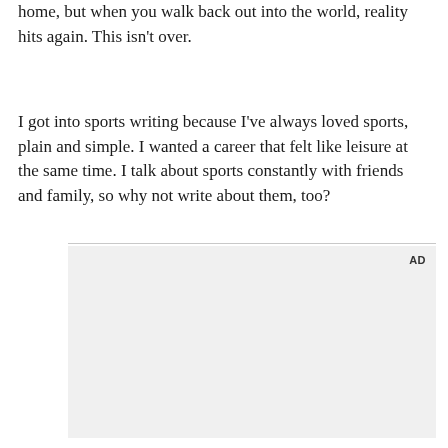home, but when you walk back out into the world, reality hits again. This isn't over.
I got into sports writing because I've always loved sports, plain and simple. I wanted a career that felt like leisure at the same time. I talk about sports constantly with friends and family, so why not write about them, too?
[Figure (other): Advertisement placeholder box with 'AD' label in top right corner, light gray background]